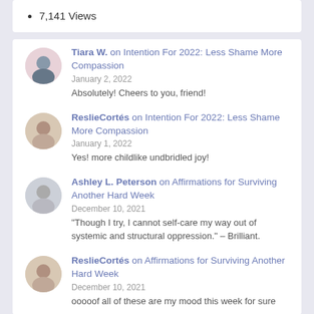7,141 Views
Tiara W. on Intention For 2022: Less Shame More Compassion
January 2, 2022
Absolutely! Cheers to you, friend!
ReslieCortés on Intention For 2022: Less Shame More Compassion
January 1, 2022
Yes! more childlike undbridled joy!
Ashley L. Peterson on Affirmations for Surviving Another Hard Week
December 10, 2021
"Though I try, I cannot self-care my way out of systemic and structural oppression." – Brilliant.
ReslieCortés on Affirmations for Surviving Another Hard Week
December 10, 2021
ooooof all of these are my mood this week for sure